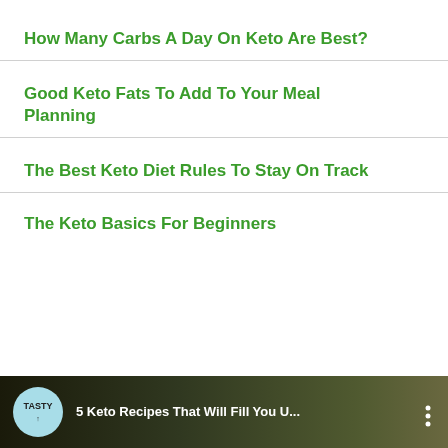How Many Carbs A Day On Keto Are Best?
Good Keto Fats To Add To Your Meal Planning
The Best Keto Diet Rules To Stay On Track
The Keto Basics For Beginners
[Figure (screenshot): Video thumbnail showing TASTY badge and text '5 Keto Recipes That Will Fill You U...' with a three-dot menu icon on dark background]